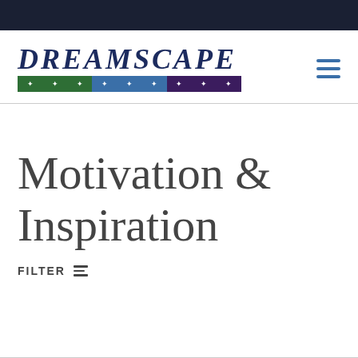[Figure (logo): Dreamscape logo with italic serif text 'DREAMSCAPE' in dark navy blue, with a three-section colored stripe below containing stars: green section, blue section, and purple section]
Motivation & Inspiration
FILTER